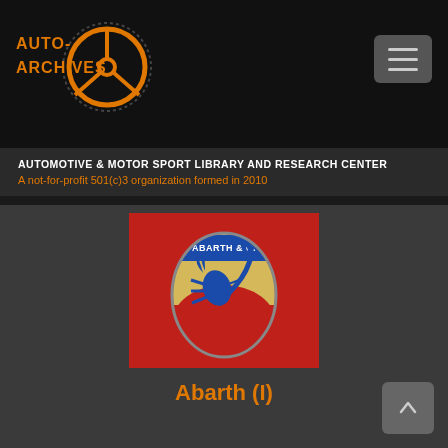AUTO-ARCHIVES logo with steering wheel icon and hamburger menu button
AUTOMOTIVE & MOTOR SPORT LIBRARY AND RESEARCH CENTER
A not-for-profit 501(c)3 organization formed in 2010
[Figure (photo): Close-up photograph of an Abarth & C. scorpion badge/emblem on a red car surface. The shield-shaped badge features a blue and yellow design with a scorpion and the text 'ABARTH & C.']
Abarth (I)